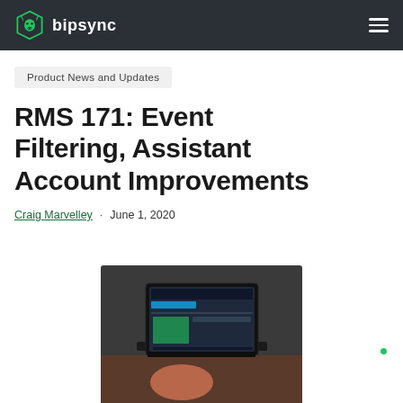bipsync
Product News and Updates
RMS 171: Event Filtering, Assistant Account Improvements
Craig Marvelley · June 1, 2020
[Figure (photo): Person typing on a laptop showing a dark-themed web application interface]